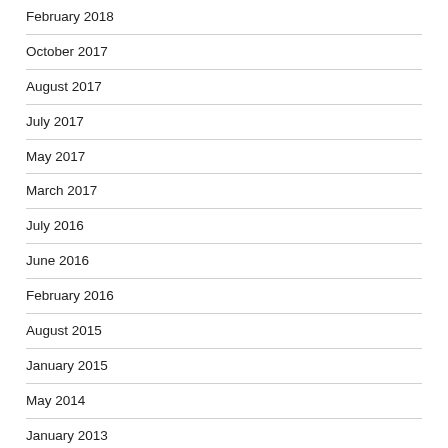February 2018
October 2017
August 2017
July 2017
May 2017
March 2017
July 2016
June 2016
February 2016
August 2015
January 2015
May 2014
January 2013